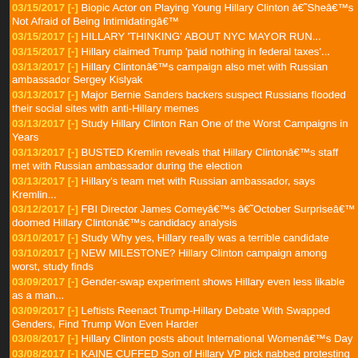03/15/2017 [-] Biopic Actor on Playing Young Hillary Clinton â€˜Sheâ€™s Not Afraid of Being Intimidatingâ€™
03/15/2017 [-] HILLARY 'THINKING' ABOUT NYC MAYOR RUN...
03/15/2017 [-] Hillary claimed Trump 'paid nothing in federal taxes'...
03/13/2017 [-] Hillary Clintonâ€™s campaign also met with Russian ambassador Sergey Kislyak
03/13/2017 [-] Major Bernie Sanders backers suspect Russians flooded their social sites with anti-Hillary memes
03/13/2017 [-] Study Hillary Clinton Ran One of the Worst Campaigns in Years
03/13/2017 [-] BUSTED Kremlin reveals that Hillary Clintonâ€™s staff met with Russian ambassador during the election
03/13/2017 [-] Hillary's team met with Russian ambassador, says Kremlin...
03/12/2017 [-] FBI Director James Comeyâ€™s â€˜October Surpriseâ€™ doomed Hillary Clintonâ€™s candidacy analysis
03/10/2017 [-] Study Why yes, Hillary really was a terrible candidate
03/10/2017 [-] NEW MILESTONE? Hillary Clinton campaign among worst, study finds
03/09/2017 [-] Gender-swap experiment shows Hillary even less likable as a man...
03/09/2017 [-] Leftists Reenact Trump-Hillary Debate With Swapped Genders, Find Trump Won Even Harder
03/08/2017 [-] Hillary Clinton posts about International Womenâ€™s Day
03/08/2017 [-] KAINE CUFFED Son of Hillary VP pick nabbed protesting Trump
03/07/2017 [-] Investigate This Russia, Obama, Trump and Hillary